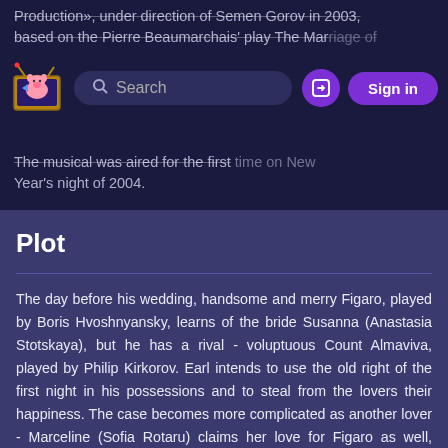Production», under direction of Semen Gorov in 2003, based on the Pierre Beaumarchais' play The Marriage of Figaro. The musical was aired for the first time on New Year's night of 2004.
Plot
The day before his wedding, handsome and merry Figaro, played by Boris Hvoshnyansky, learns of the bride Susanna (Anastasia Stotskaya), but he has a rival - voluptuous Count Almaviva, played by Philip Kirkorov. Earl intends to use the old right of the first night in his possessions and to steal from the lovers their happiness. The case becomes more complicated as another lover - Marceline (Sofia Rotaru) claims her love for Figaro as well, requiring a considerable amount of money to return and marry her. Figaro uses infinitely jealousy count to his wife Rosine, played in the movie by Lolita Miliavskaya. The reason for the jealousy becomes innocent infatuation by Kerubino